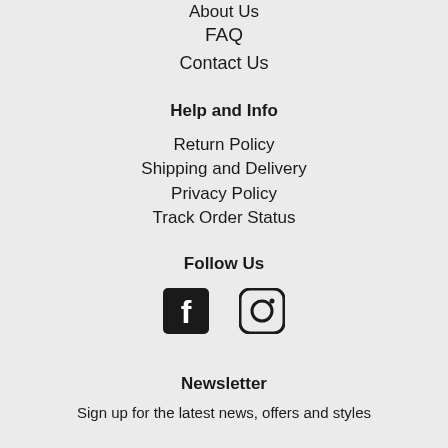About Us
FAQ
Contact Us
Help and Info
Return Policy
Shipping and Delivery
Privacy Policy
Track Order Status
Follow Us
[Figure (other): Facebook and Instagram social media icons]
Newsletter
Sign up for the latest news, offers and styles